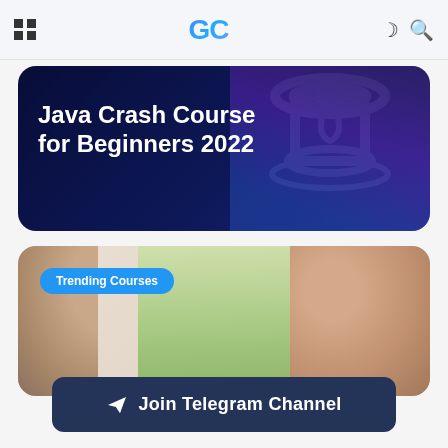GC
[Figure (screenshot): Java Crash Course for Beginners 2022 banner with dark blue background and Java logo watermark]
Java Crash Course for Beginners 2022
[Figure (photo): Photo of two people in conversation with a plant in the background, with a 'Trending Courses' badge]
Trending Courses
Join Telegram Channel